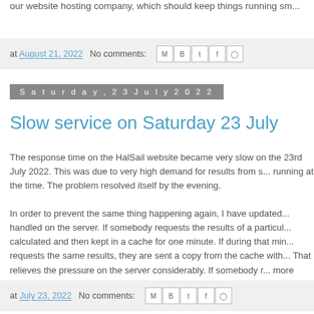our website hosting company, which should keep things running sm...
at August 21, 2022   No comments:
Saturday, 23 July 2022
Slow service on Saturday 23 July
The response time on the HalSail website became very slow on the 23rd July 2022. This was due to very high demand for results from s... running at the time. The problem resolved itself by the evening.
In order to prevent the same thing happening again, I have updated... handled on the server. If somebody requests the results of a particul... calculated and then kept in a cache for one minute. If during that min... requests the same results, they are sent a copy from the cache with... That relieves the pressure on the server considerably. If somebody r... more than a minute later, after the cache has expired, the results are...
at July 23, 2022   No comments: